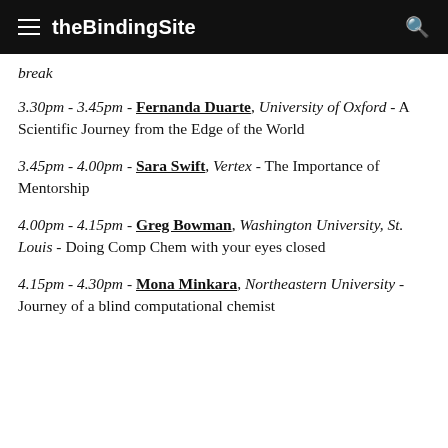theBindingSite
break
3.30pm - 3.45pm - Fernanda Duarte, University of Oxford - A Scientific Journey from the Edge of the World
3.45pm - 4.00pm - Sara Swift, Vertex - The Importance of Mentorship
4.00pm - 4.15pm - Greg Bowman, Washington University, St. Louis - Doing Comp Chem with your eyes closed
4.15pm - 4.30pm - Mona Minkara, Northeastern University - Journey of a blind computational chemist